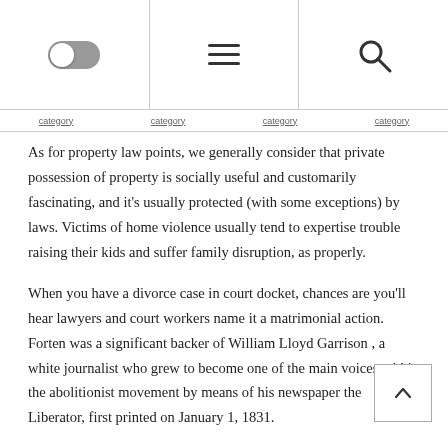[toggle] [menu] [search]
As for property law points, we generally consider that private possession of property is socially useful and customarily fascinating, and it's usually protected (with some exceptions) by laws. Victims of home violence usually tend to expertise trouble raising their kids and suffer family disruption, as properly.
When you have a divorce case in court docket, chances are you'll hear lawyers and court workers name it a matrimonial action. Forten was a significant backer of William Lloyd Garrison , a white journalist who grew to become one of the main voices within the abolitionist movement by means of his newspaper the Liberator, first printed on January 1, 1831.
By searching for to get rid of variations in settlements arising